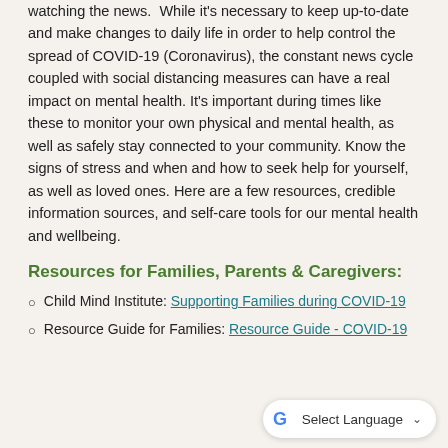watching the news.  While it's necessary to keep up-to-date and make changes to daily life in order to help control the spread of COVID-19 (Coronavirus), the constant news cycle coupled with social distancing measures can have a real impact on mental health. It's important during times like these to monitor your own physical and mental health, as well as safely stay connected to your community. Know the signs of stress and when and how to seek help for yourself, as well as loved ones. Here are a few resources, credible information sources, and self-care tools for our mental health and wellbeing.
Resources for Families, Parents & Caregivers:
Child Mind Institute: Supporting Families during COVID-19
Resource Guide for Families: Resource Guide - COVID-19